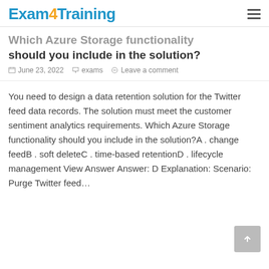Exam4Training
Which Azure Storage functionality should you include in the solution?
June 23, 2022   exams   Leave a comment
You need to design a data retention solution for the Twitter feed data records. The solution must meet the customer sentiment analytics requirements. Which Azure Storage functionality should you include in the solution?A . change feedB . soft deleteC . time-based retentionD . lifecycle management View Answer Answer: D Explanation: Scenario: Purge Twitter feed...